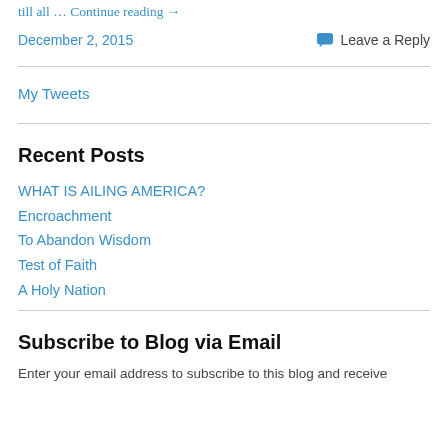till all … Continue reading →
December 2, 2015
💬 Leave a Reply
My Tweets
Recent Posts
WHAT IS AILING AMERICA?
Encroachment
To Abandon Wisdom
Test of Faith
A Holy Nation
Subscribe to Blog via Email
Enter your email address to subscribe to this blog and receive